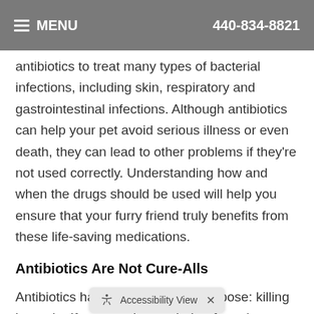MENU   440-834-8821
antibiotics to treat many types of bacterial infections, including skin, respiratory and gastrointestinal infections. Although antibiotics can help your pet avoid serious illness or even death, they can lead to other problems if they're not used correctly. Understanding how and when the drugs should be used will help you ensure that your furry friend truly benefits from these life-saving medications.
Antibiotics Are Not Cure-Alls
Antibiotics have a very specific purpose: killing bacteria. If your pet has a viral or fungal infection, an antibiotic will be ineffective. Antibiotics, like all medications, have side effects. Taking a course of antibiotics can upset y … cause